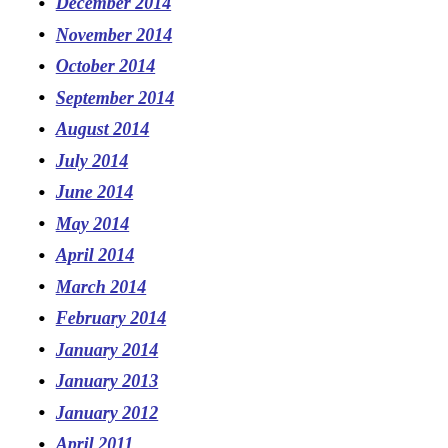January 2015
December 2014
November 2014
October 2014
September 2014
August 2014
July 2014
June 2014
May 2014
April 2014
March 2014
February 2014
January 2014
January 2013
January 2012
April 2011
May 2010
April 2010
June 2009
May 2009
March 2009
February 2009
January 2009
December 2008